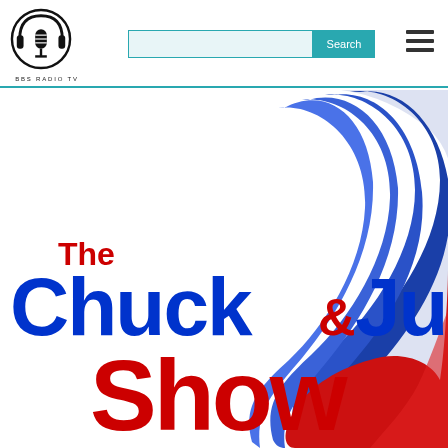[Figure (logo): BBS Radio TV circular logo with microphone icon]
Search
[Figure (logo): The Chuck & Julie Show logo with red, white and blue ribbon/flame graphic and bold text reading 'The Chuck & Julie Show']